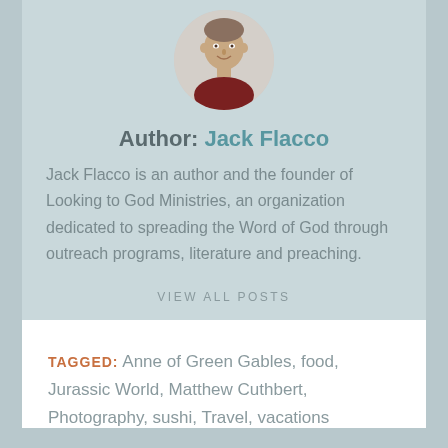[Figure (photo): Circular avatar photo of Jack Flacco, a middle-aged man with short hair, smiling, wearing a dark red/maroon top, against a white background.]
Author: Jack Flacco
Jack Flacco is an author and the founder of Looking to God Ministries, an organization dedicated to spreading the Word of God through outreach programs, literature and preaching.
VIEW ALL POSTS
TAGGED: Anne of Green Gables, food, Jurassic World, Matthew Cuthbert, Photography, sushi, Travel, vacations